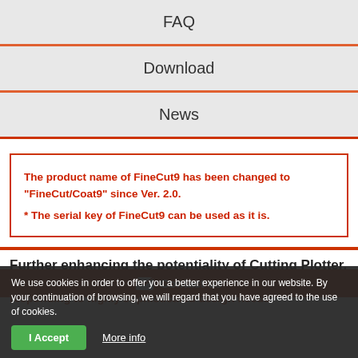FAQ
Download
News
The product name of FineCut9 has been changed to "FineCut/Coat9" since Ver. 2.0.
* The serial key of FineCut9 can be used as it is.
Further enhancing the potentiality of Cutting Plotter.
Plug-in software "FineCut" for CorelDRAW® responding to highly sophisticated design needs
Contact us
We use cookies in order to offer you a better experience in our website. By your continuation of browsing, we will regard that you have agreed to the use of cookies.
I Accept
More info